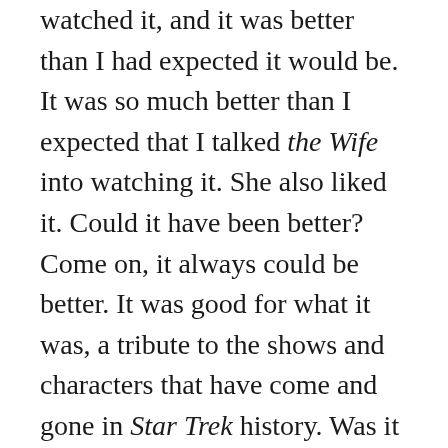watched it, and it was better than I had expected it would be. It was so much better than I expected that I talked the Wife into watching it. She also liked it. Could it have been better? Come on, it always could be better. It was good for what it was, a tribute to the shows and characters that have come and gone in Star Trek history. Was it really Star Trek? I think you could say it was. TNG Star Trek if not classic Star Trek.
(Et in Arcadia Ego one and two. The Eclogues)
I would have preferred if they had ended it in season one, but they made season two; and after finishing watching season two I had to say it was also worth watching. I won't hold my